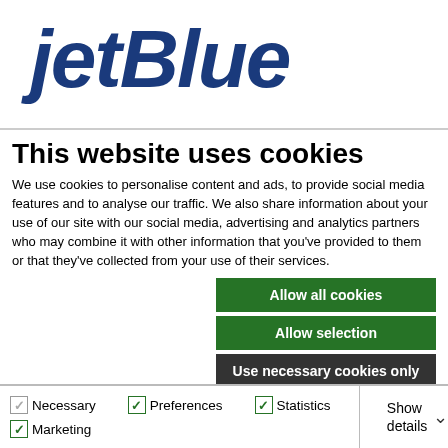[Figure (logo): JetBlue airline logo in large dark blue bold italic text]
This website uses cookies
We use cookies to personalise content and ads, to provide social media features and to analyse our traffic. We also share information about your use of our site with our social media, advertising and analytics partners who may combine it with other information that you've provided to them or that they've collected from your use of their services.
Allow all cookies
Allow selection
Use necessary cookies only
Necessary  Preferences  Statistics  Marketing  Show details